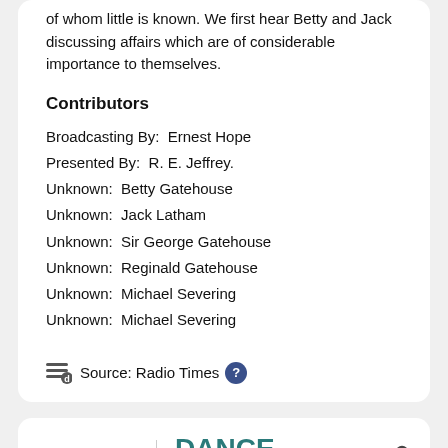of whom little is known. We first hear Betty and Jack discussing affairs which are of considerable importance to themselves.
Contributors
Broadcasting By:  Ernest Hope
Presented By:  R. E. Jeffrey.
Unknown:  Betty Gatehouse
Unknown:  Jack Latham
Unknown:  Sir George Gatehouse
Unknown:  Reginald Gatehouse
Unknown:  Michael Severing
Unknown:  Michael Severing
Source: Radio Times
22:30   DANCE MUSIC